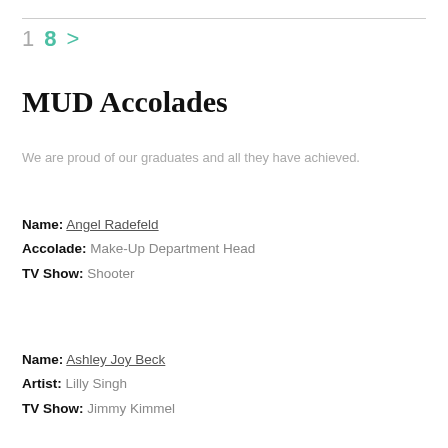1  8  >
MUD Accolades
We are proud of our graduates and all they have achieved.
Name: Angel Radefeld
Accolade: Make-Up Department Head
TV Show: Shooter
Name: Ashley Joy Beck
Artist: Lilly Singh
TV Show: Jimmy Kimmel